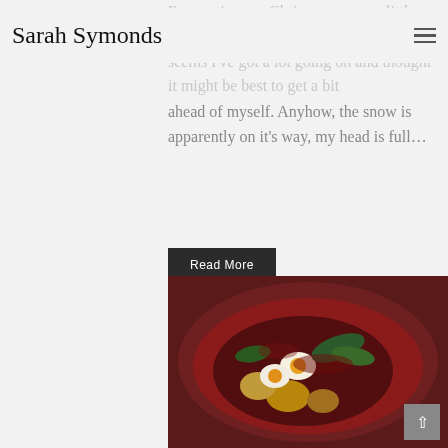Sarah Symonds
I'm starting my Christmas posts a little earlier this year. Call me over-eager but it seems I've got a lot going on and thought it might be best to get a bit ahead of myself. Anyhow, the snow is apparently on it's way, my head is full…
Read More
[Figure (photo): A food photo showing a dark red/maroon bowl or plate with cooked eggs, potatoes, and leafy greens in a rich dark sauce]